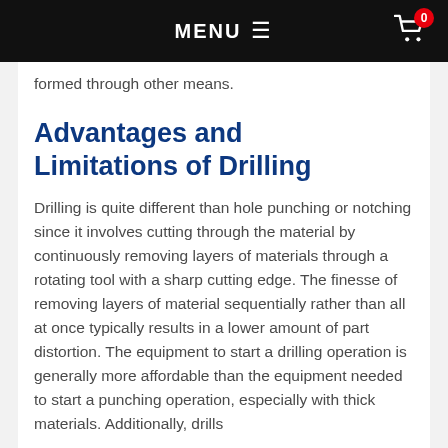MENU ☰  0
formed through other means.
Advantages and Limitations of Drilling
Drilling is quite different than hole punching or notching since it involves cutting through the material by continuously removing layers of materials through a rotating tool with a sharp cutting edge. The finesse of removing layers of material sequentially rather than all at once typically results in a lower amount of part distortion. The equipment to start a drilling operation is generally more affordable than the equipment needed to start a punching operation, especially with thick materials. Additionally, drills